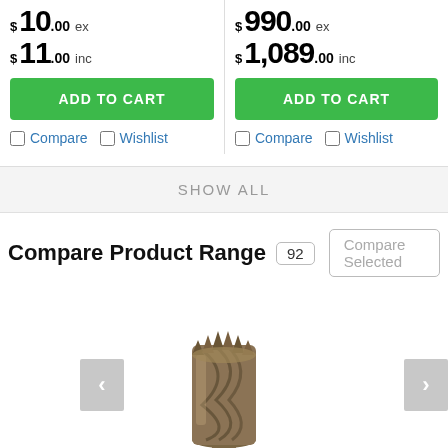$ 10.00 ex
$ 11.00 inc
ADD TO CART
Compare  Wishlist
$ 990.00 ex
$ 1,089.00 inc
ADD TO CART
Compare  Wishlist
SHOW ALL
Compare Product Range
92
Compare Selected
[Figure (photo): A drill bit (annular cutter/hole saw) made of dark metallic material with spiral flutes, shown vertically centered in a product carousel. Left and right navigation arrows are visible on each side.]
Add D9535 to Cart